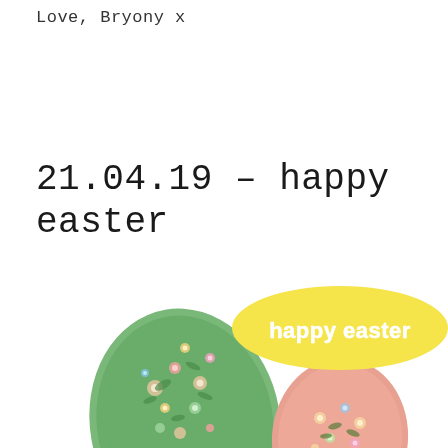Love, Bryony x
21.04.19 – happy easter
[Figure (illustration): Decorative Easter illustration showing floral-patterned Easter eggs in green and pink with small flowers, and a yellow oval badge with 'happy easter' text in white outline lettering]